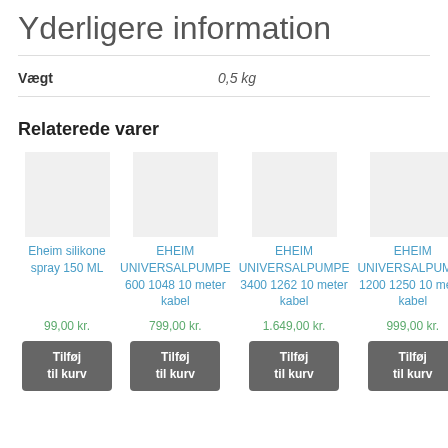Yderligere information
| Vægt | 0,5 kg |
| --- | --- |
Relaterede varer
[Figure (other): Product thumbnail placeholder for Eheim silikone spray 150 ML]
[Figure (other): Product thumbnail placeholder for EHEIM UNIVERSALPUMPE 600 1048 10 meter kabel]
[Figure (other): Product thumbnail placeholder for EHEIM UNIVERSALPUMPE 3400 1262 10 meter kabel]
[Figure (other): Product thumbnail placeholder for EHEIM UNIVERSALPUMPE 1200 1250 10 meter kabel]
Eheim silikone spray 150 ML
EHEIM UNIVERSALPUMPE 600 1048 10 meter kabel
EHEIM UNIVERSALPUMPE 3400 1262 10 meter kabel
EHEIM UNIVERSALPUMPE 1200 1250 10 meter kabel
99,00 kr.
799,00 kr.
1.649,00 kr.
999,00 kr.